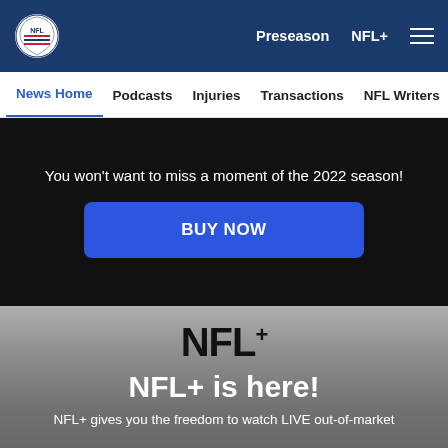NFL — Preseason  NFL+  Menu
News Home  Podcasts  Injuries  Transactions  NFL Writers  Se
You won't want to miss a moment of the 2022 season!
BUY NOW
[Figure (logo): NFL+ logo in black bold text with plus superscript]
NFL+ is here!
NFL+ gives you the freedom to watch LIVE out-of-market
[Figure (infographic): Social share icons: Facebook, Twitter, Email, Link]